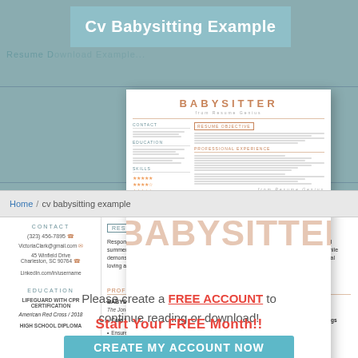Cv Babysitting Example
[Figure (screenshot): Screenshot of a babysitter resume template from Resume Genius, showing a white resume document with 'BABYSITTER' title in orange, contact information, resume objective, professional experience sections, with a large semi-transparent watermark 'BABYSITTER' overlaid in orange across the center]
Home / cv babysitting example
Please create a FREE ACCOUNT to continue reading or download!
Start Your FREE Month!!
CREATE MY ACCOUNT NOW
CONTACT
RESUME OBJECTIVE
Responsible babysitter with experience caring for children during weekends, evenings, and summers at double income. Skilled in creating fun, engaging, and educational activities, while demonstrating a concern for children's safety and wellbeing. Trusted by parents, with mutual loving affection for all of the cared-for children.
PROFESSIONAL EXPERIENCE
BABYSITTER
The Jones Family / Kansas City, MO / 2016 - Present
Care for a boy and a girl, ages 5 and 8, during parents' scheduled absences in the evenings
Ensure children are bathed, fed, and in bed prior to parents' return every evening
Created innovative and educational games that improved 5...
EDUCATION
LIFEGUARD WITH CPR CERTIFICATION
American Red Cross / 2018
HIGH SCHOOL DIPLOMA